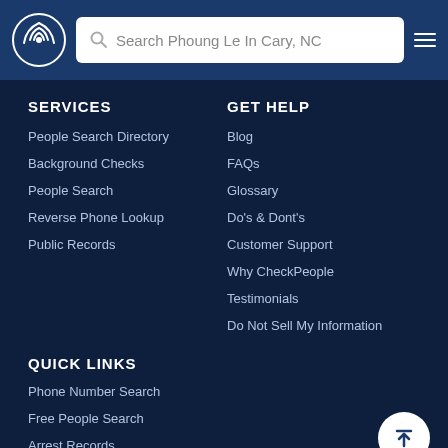Search Phoung Le In Cary, NC
SERVICES
People Search Directory
Background Checks
People Search
Reverse Phone Lookup
Public Records
GET HELP
Blog
FAQs
Glossary
Do's & Dont's
Customer Support
Why CheckPeople
Testimonials
Do Not Sell My Information
QUICK LINKS
Phone Number Search
Free People Search
Arrest Records
Criminal Background Checks